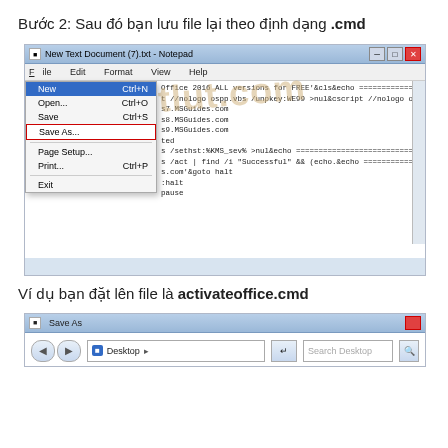Bước 2: Sau đó bạn lưu file lại theo định dạng .cmd
[Figure (screenshot): Notepad window showing a script file with the File menu open and 'Save As...' option highlighted with a red border]
Ví dụ bạn đặt lên file là activateoffice.cmd
[Figure (screenshot): Save As dialog window showing Desktop location in the address bar with a search field]